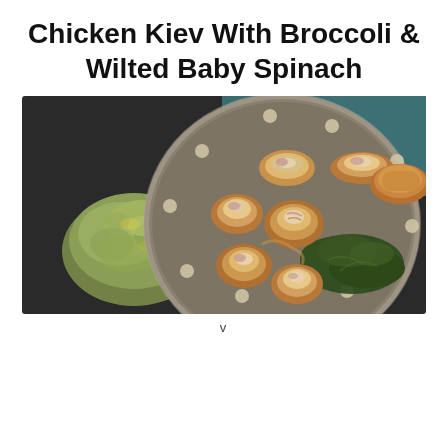Chicken Kiev With Broccoli & Wilted Baby Spinach
[Figure (photo): Overhead photo of a dark round plate with sliced chicken kiev rolls and wilted spinach, alongside a mound of mashed broccoli on a dark slate surface]
v